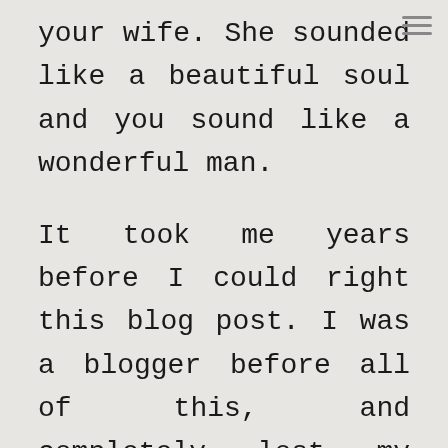your wife. She sounded like a beautiful soul and you sound like a wonderful man.

It took me years before I could right this blog post. I was a blogger before all of this, and completely lost my writing voice from all the cancer loss around me.